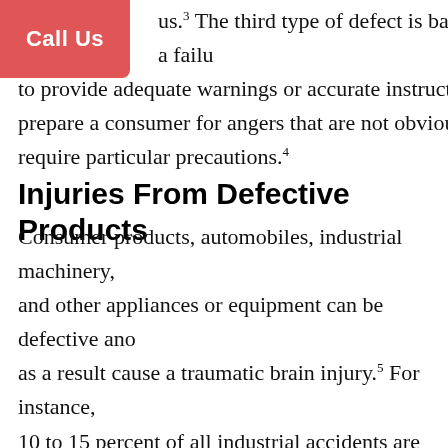[Figure (other): Red 'Call Us' button in top-left corner]
us.3 The third type of defect is based on a failure to provide adequate warnings or accurate instructions to prepare a consumer for angers that are not obvious and require particular precautions.4
Injuries From Defective Products
Consumer products, automobiles, industrial machinery, and other appliances or equipment can be defective and as a result cause a traumatic brain injury.5 For instance, 10 to 15 percent of all industrial accidents are due to defectively designed equipment.6 The manufactures have a duty to design and produce safe goods to be used at home or commercially, because most products have the potential to cause a brain injury or other serious harm if the defective products are introduced into the market.
Typically, a series of product defects have been...